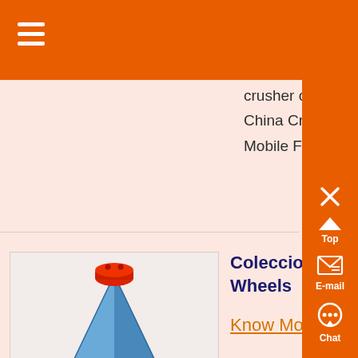crusher chinaFind details about China Crusher Impact Crusher from Mobile Fine…
Coleccionador de auto Ho Wheels
Know More
[Figure (photo): Blue and red cone-shaped industrial crusher machine]
Keep track of your Hot Wheels diecast car collection and check out the new 2016 Hot Wheel cars online Also, add cool collectible toy cars and trucks to your collection build your car ,...